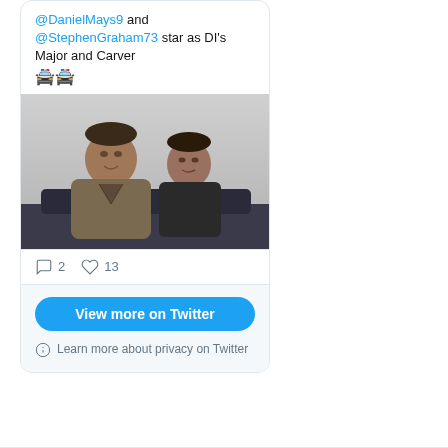@DanielMays9 and @StephenGraham73 star as DI's Major and Carver 🚔🚔
[Figure (photo): Two men sitting together, one in a brownish jacket and one in dark clothing, in a scene from a TV show]
2 comments, 13 likes
View more on Twitter
Learn more about privacy on Twitter